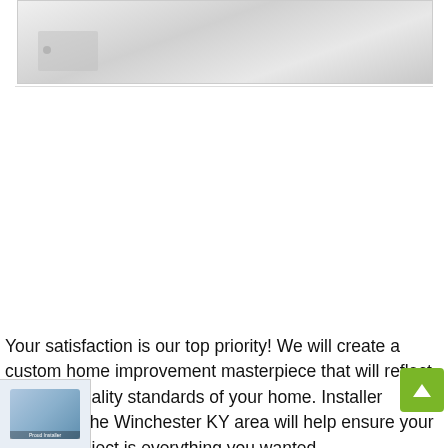[Figure (photo): A photo of a home improvement or installation product/scene, shown in grayscale/light tones at the top of the page]
Your satisfaction is our top priority! We will create a custom home improvement masterpiece that will reflect the high quality standards of your home. Installer located in the Winchester KY area will help ensure your custom project is everything you wanted